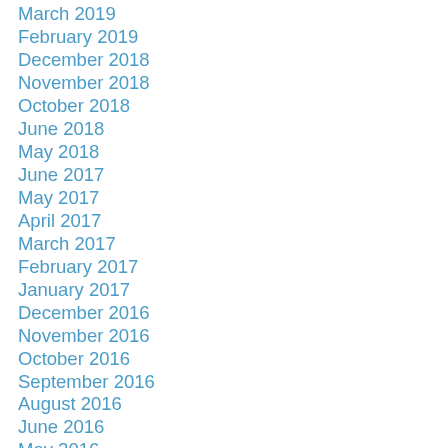March 2019
February 2019
December 2018
November 2018
October 2018
June 2018
May 2018
June 2017
May 2017
April 2017
March 2017
February 2017
January 2017
December 2016
November 2016
October 2016
September 2016
August 2016
June 2016
May 2016
April 2016